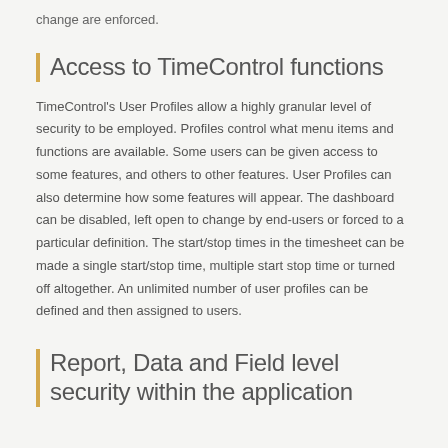change are enforced.
Access to TimeControl functions
TimeControl's User Profiles allow a highly granular level of security to be employed. Profiles control what menu items and functions are available. Some users can be given access to some features, and others to other features. User Profiles can also determine how some features will appear. The dashboard can be disabled, left open to change by end-users or forced to a particular definition. The start/stop times in the timesheet can be made a single start/stop time, multiple start stop time or turned off altogether. An unlimited number of user profiles can be defined and then assigned to users.
Report, Data and Field level security within the application